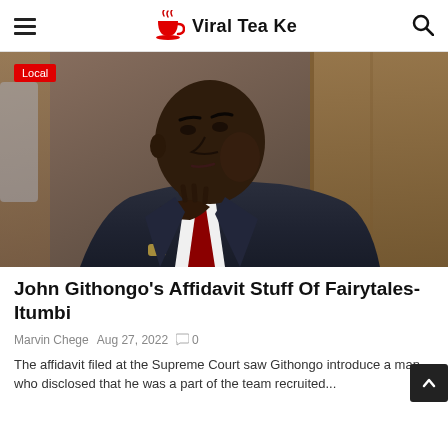Viral Tea Ke
[Figure (photo): A man in a dark suit with a red tie, seated, hand on chin in a thoughtful pose, with wooden paneling in the background. Badge reads 'Local'.]
John Githongo's Affidavit Stuff Of Fairytales- Itumbi
Marvin Chege  Aug 27, 2022  0
The affidavit filed at the Supreme Court saw Githongo introduce a man who disclosed that he was a part of the team recruited...